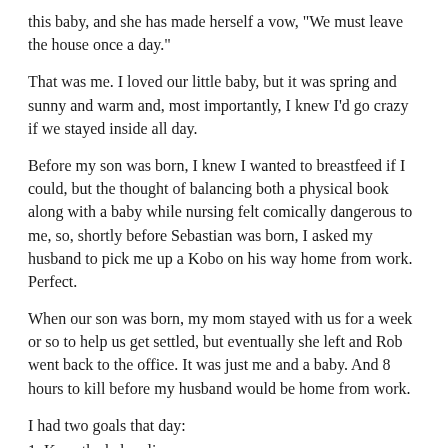this baby, and she has made herself a vow, "We must leave the house once a day."
That was me. I loved our little baby, but it was spring and sunny and warm and, most importantly, I knew I'd go crazy if we stayed inside all day.
Before my son was born, I knew I wanted to breastfeed if I could, but the thought of balancing both a physical book along with a baby while nursing felt comically dangerous to me, so, shortly before Sebastian was born, I asked my husband to pick me up a Kobo on his way home from work. Perfect.
When our son was born, my mom stayed with us for a week or so to help us get settled, but eventually she left and Rob went back to the office. It was just me and a baby. And 8 hours to kill before my husband would be home from work.
I had two goals that day:
1. Keep the baby alive.
2. Get a cover for my Kobo.